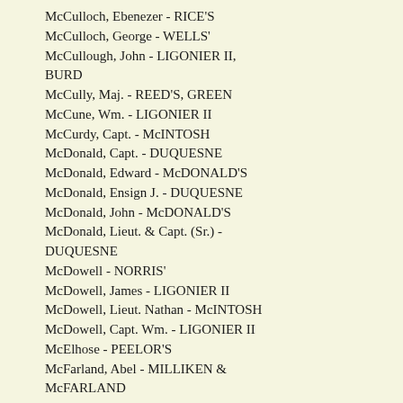McCulloch, Ebenezer - RICE'S
McCulloch, George - WELLS'
McCullough, John - LIGONIER II, BURD
McCully, Maj. - REED'S, GREEN
McCune, Wm. - LIGONIER II
McCurdy, Capt. - McINTOSH
McDonald, Capt. - DUQUESNE
McDonald, Edward - McDONALD'S
McDonald, Ensign J. - DUQUESNE
McDonald, John - McDONALD'S
McDonald, Lieut. & Capt. (Sr.) - DUQUESNE
McDowell - NORRIS'
McDowell, James - LIGONIER II
McDowell, Lieut. Nathan - McINTOSH
McDowell, Capt. Wm. - LIGONIER II
McElhose - PEELOR'S
McFarland, Abel - MILLIKEN & McFARLAND
McFarland, Andrew - ARMSTRONG–(Kittanning)
McFarland, James F. - MEAD'S
McFarland, W. T. - WALLACE'S